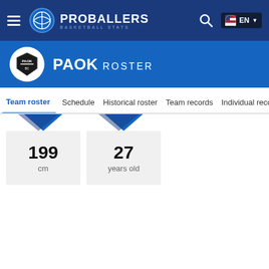ProBallers Basketball Stats — EN
PAOK ROSTER
Team roster | Schedule | Historical roster | Team records | Individual records
199 cm
27 years old